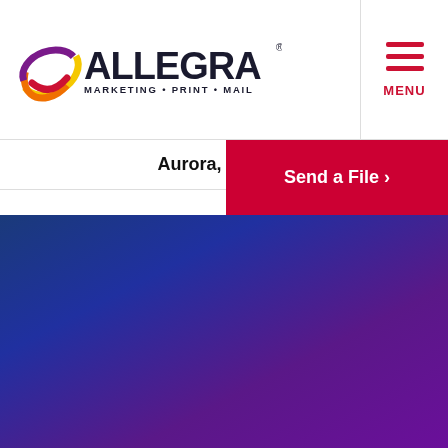[Figure (logo): Allegra Marketing Print Mail logo with colorful swirl icon on the left and bold black text ALLEGRA with tagline MARKETING • PRINT • MAIL]
[Figure (infographic): Hamburger menu icon with three red horizontal lines and red MENU text below]
Aurora, Ontario
Send a File ›
[Figure (illustration): Blue to purple gradient background filling the lower portion of the page]